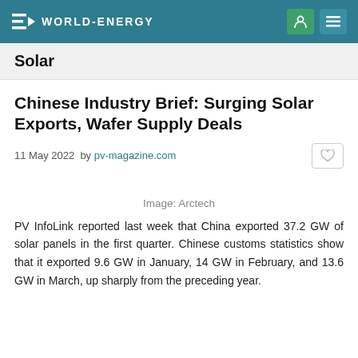WORLD-ENERGY
Solar
Chinese Industry Brief: Surging Solar Exports, Wafer Supply Deals
11 May 2022  by pv-magazine.com
Image: Arctech
PV InfoLink reported last week that China exported 37.2 GW of solar panels in the first quarter. Chinese customs statistics show that it exported 9.6 GW in January, 14 GW in February, and 13.6 GW in March, up sharply from the preceding year.